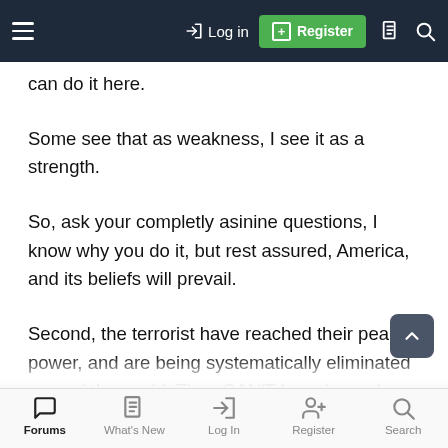Log in | Register
can do it here.
Some see that as weakness, I see it as a strength.
So, ask your completly asinine questions, I know why you do it, but rest assured, America, and its beliefs will prevail.
Second, the terrorist have reached their peak of power, and are being systematically eliminated around the world. They CAN'T launch another attack against
Forums | What's New | Log In | Register | Search